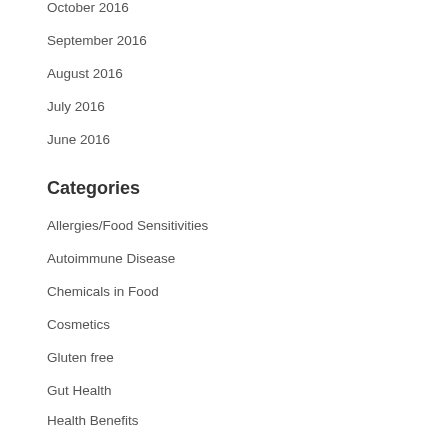October 2016
September 2016
August 2016
July 2016
June 2016
Categories
Allergies/Food Sensitivities
Autoimmune Disease
Chemicals in Food
Cosmetics
Gluten free
Gut Health
Health Benefits
Healthy Eating